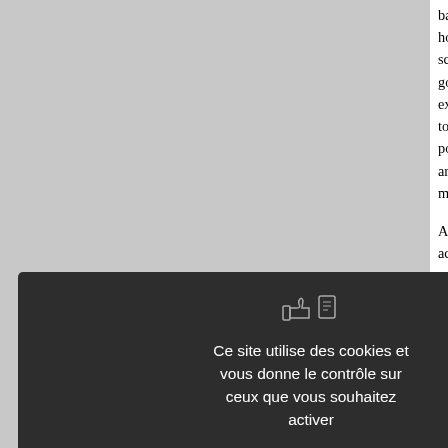basic Islamic doctrine. Many exclu however, would be lost when finan schools'sponsorship solely govern government-sponsored schools thei examples of such merging in Henan, to promote new-style education fo political and economic turmoil that art, Chinese Muslim communities mited access to education of any kin
Among the many difficulties these ne ack of qualified teachers trained esponding to this challenge, a n merged in the early 20th century. T modern name, shifan, or teachers High Academy" was to cultivate Im urriculum. 21 These teachers would ubjects in addition to religious subj vas established by Imam Wang Ku 908. 22 Like other new-style Mu eachers academies were forced ou f all these new schools, the Cheng nfluential. The following sections wil nvolved in Muslim educational refor ow it was affected by the sense of a
Ce site utilise des cookies et vous donne le contrôle sur ceux que vous souhaitez activer
✓ Tout accepter
✗ Tout refuser
Personnaliser
Politique de confidentialité